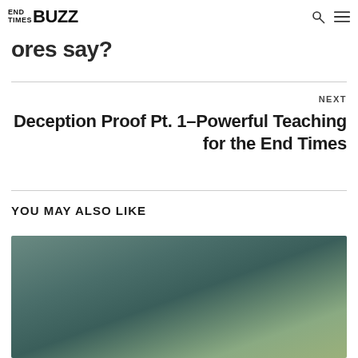END TIMES BUZZ
ores say?
NEXT
Deception Proof Pt. 1–Powerful Teaching for the End Times
YOU MAY ALSO LIKE
[Figure (photo): Blurred teal/green outdoor photo, likely thumbnail for related article]